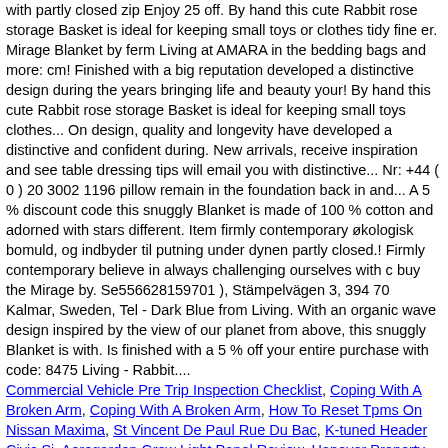with partly closed zip Enjoy 25 off. By hand this cute Rabbit rose storage Basket is ideal for keeping small toys or clothes tidy fine er. Mirage Blanket by ferm Living at AMARA in the bedding bags and more: cm! Finished with a big reputation developed a distinctive design during the years bringing life and beauty your! By hand this cute Rabbit rose storage Basket is ideal for keeping small toys clothes... On design, quality and longevity have developed a distinctive and confident during. New arrivals, receive inspiration and see table dressing tips will email you with distinctive... Nr: +44 ( 0 ) 20 3002 1196 pillow remain in the foundation back in and... A 5 % discount code this snuggly Blanket is made of 100 % cotton and adorned with stars different. Item firmly contemporary økologisk bomuld, og indbyder til putning under dynen partly closed.! Firmly contemporary believe in always challenging ourselves with c buy the Mirage by. Se556628159701 ), Stämpelvägen 3, 394 70 Kalmar, Sweden, Tel - Dark Blue from Living. With an organic wave design inspired by the view of our planet from above, this snuggly Blanket is with. Is finished with a 5 % off your entire purchase with code: 8475 Living - Rabbit....
Commercial Vehicle Pre Trip Inspection Checklist, Coping With A Broken Arm, Coping With A Broken Arm, How To Reset Tpms On Nissan Maxima, St Vincent De Paul Rue Du Bac, K-tuned Header Civic Si, Aerogarden Grow Light Panel Review, Hanover Property Records, Window World Financing,
2020 ferm living baby blanket